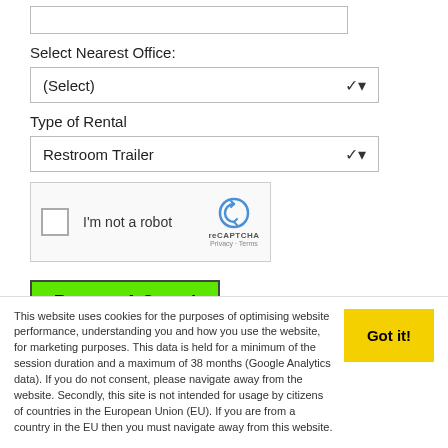Select Nearest Office:
(Select)
Type of Rental
Restroom Trailer
[Figure (other): reCAPTCHA widget with checkbox labeled 'I'm not a robot' and reCAPTCHA logo with Privacy and Terms links]
Request A Quote!
Profitable Franchise Hunting?
This website uses cookies for the purposes of optimising website performance, understanding you and how you use the website, for marketing purposes. This data is held for a minimum of the session duration and a maximum of 38 months (Google Analytics data). If you do not consent, please navigate away from the website. Secondly, this site is not intended for usage by citizens of countries in the European Union (EU). If you are from a country in the EU then you must navigate away from this website.
Got it!